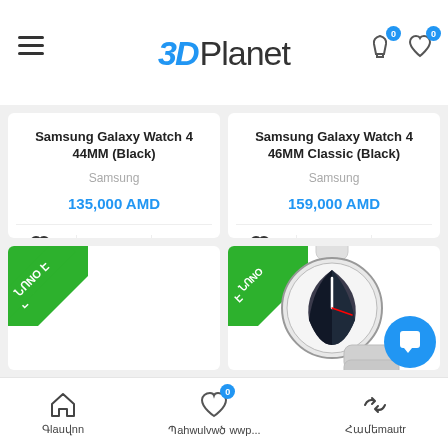3D Planet
Samsung Galaxy Watch 4 44MM (Black)
Samsung
135,000 AMD
Samsung Galaxy Watch 4 46MM Classic (Black)
Samsung
159,000 AMD
[Figure (photo): Product card with new badge (Armenian text), empty image area]
[Figure (photo): Product card with Samsung Galaxy Watch 4 image, white band smartwatch, new badge (Armenian text)]
Գlauվnn | Պahwulvwծ wwp... | Համեmautr